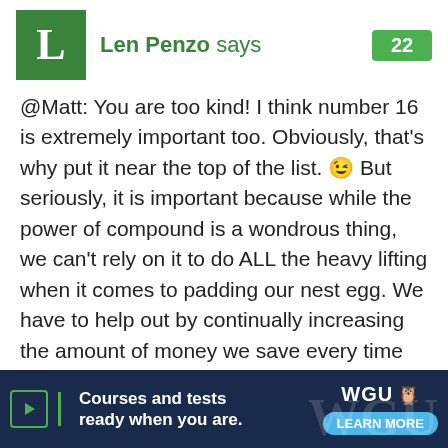Len Penzo says  22
@Matt: You are too kind! I think number 16 is extremely important too. Obviously, that's why put it near the top of the list. 😉 But seriously, it is important because while the power of compound is a wondrous thing, we can't rely on it to do ALL the heavy lifting when it comes to padding our nest egg. We have to help out by continually increasing the amount of money we save every time we get a raise. I gradually increased my automatic paycheck deductions over a period of years until I reached my maximum before-tax limits
[Figure (screenshot): WGU advertisement banner: Courses and tests ready when you are. LEARN MORE]